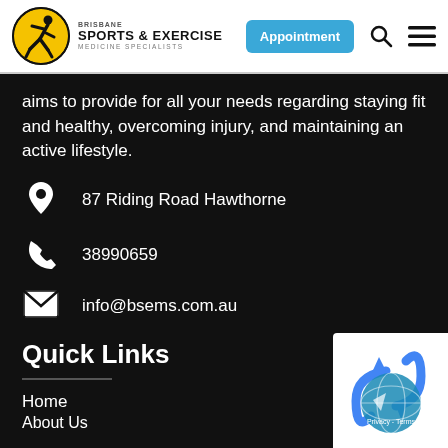Brisbane Sports & Exercise Medicine Specialists — Appointment
aims to provide for all your needs regarding staying fit and healthy, overcoming injury, and maintaining an active lifestyle.
87 Riding Road Hawthorne
38990659
info@bsems.com.au
Quick Links
Home
About Us